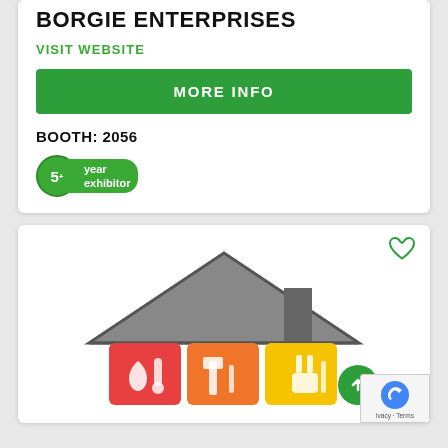BORGIE ENTERPRISES
VISIT WEBSITE
MORE INFO
BOOTH: 2056
[Figure (logo): 5+ year exhibitor badge in green]
[Figure (illustration): Home improvement house illustration with colorful icons for plumbing, heating, construction, and electrical services below a grey roof silhouette]
ivacy - Terms